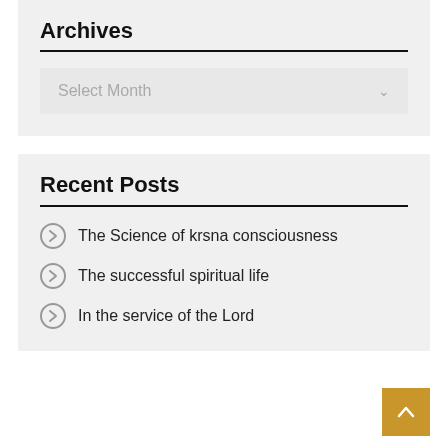Archives
Select Month
Recent Posts
The Science of krsna consciousness
The successful spiritual life
In the service of the Lord